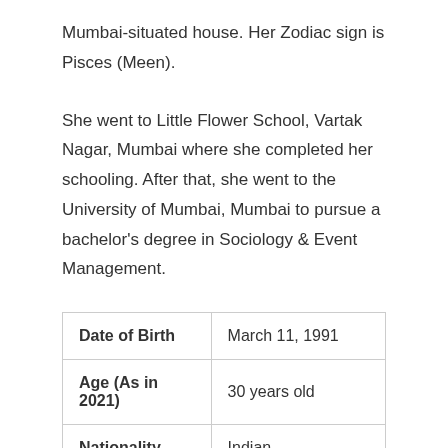Mumbai-situated house. Her Zodiac sign is Pisces (Meen).
She went to Little Flower School, Vartak Nagar, Mumbai where she completed her schooling. After that, she went to the University of Mumbai, Mumbai to pursue a bachelor's degree in Sociology & Event Management.
| Date of Birth | March 11, 1991 |
| Age (As in 2021) | 30 years old |
| Nationality | Indian |